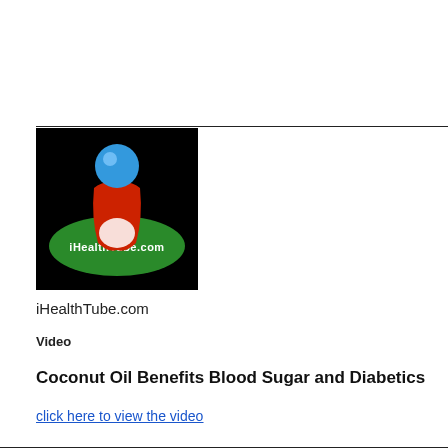[Figure (logo): iHealthTube.com logo: black background with a blue sphere on top of a red stylized letter i sitting on a green oval with white text 'iHealthTube.com']
iHealthTube.com
Video
Coconut Oil Benefits Blood Sugar and Diabetics
click here to view the video